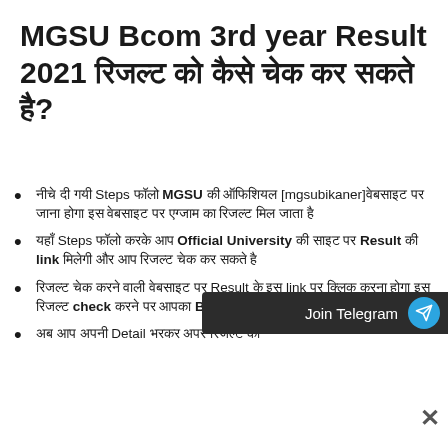MGSU Bcom 3rd year Result 2021 रिजल्ट को कैसे चेक कर सकते है?
नीचे दी गयी Steps फॉलो MGSU की ऑफिशियल [mgsubikaner]वेबसाइट पर जाना होगा इस वेबसाइट पर एग्जाम का रिजल्ट मिल जाता है
यहाँ Steps फॉलो करके आप Official University की साइट पर Result की link मिलेगी और आप रिजल्ट चेक कर सकते है
रिजल्ट चेक करने वाली वेबसाइट पर Result के इस link पर क्लिक करना होगा इस रिजल्ट check करने पर आपका BA 3rd year रिजल्ट
अब आप अपनी Detail भरकर अपर रिजल्ट को